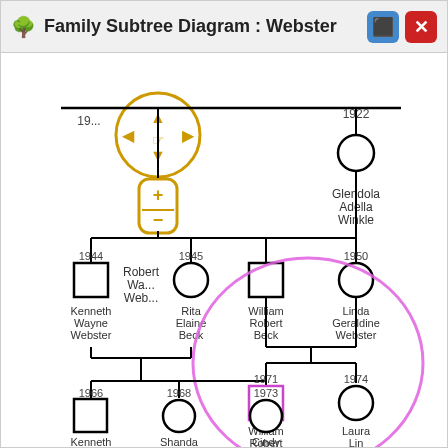🌳 Family Subtree Diagram : Webster
[Figure (organizational-chart): Family subtree diagram for the Webster family. Shows ancestors Robert Wayne Webster and Glendola Adella Winkle (1922) at top. Their children include Kenneth Wayne Webster (1944), Rita Elaine Beck (1945), William Robert Beck, and Linda Geraldine Webster (1950). William Robert Beck and Linda Geraldine Webster (highlighted with pink circle) have children: William Robert Beck (1971) and Laura Lin Beck (1974). Kenneth Wayne Webster and Rita Elaine Beck have children: Kenneth Wayne Webster (1966), Shanda Irene Webster (1968), and Cindy Etta Webster (1973). Navigation pan and zoom controls are overlaid on the top-left.]